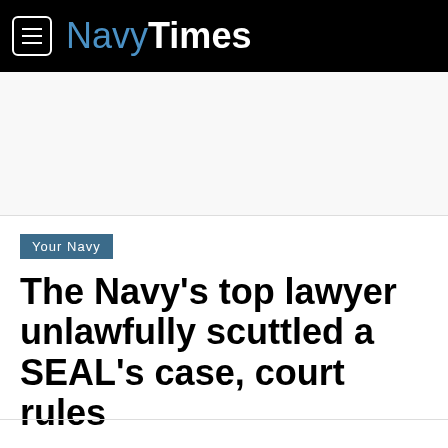NavyTimes
Your Navy
The Navy's top lawyer unlawfully scuttled a SEAL's case, court rules
By Carl Prine
Sep 6, 2018